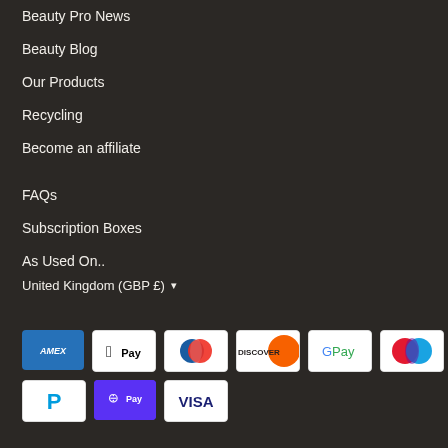Beauty Pro News
Beauty Blog
Our Products
Recycling
Become an affiliate
FAQs
Subscription Boxes
As Used On..
United Kingdom (GBP £) ▾
[Figure (infographic): Payment method logos: American Express, Apple Pay, Diners Club, Discover, Google Pay, Maestro, Mastercard, PayPal, Shop Pay, Visa]